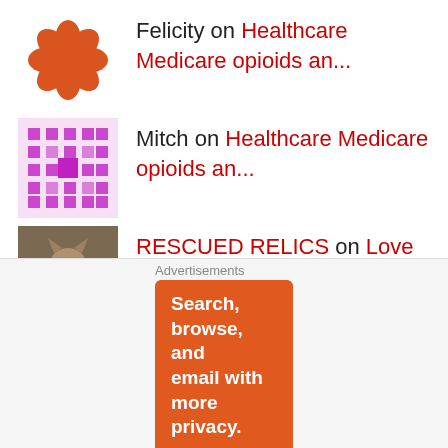Felicity on Healthcare Medicare opioids an...
Mitch on Healthcare Medicare opioids an...
RESCUED RELICS on Love is in the Air....stream
Lori Burgess on Las Vegas Vacation
Archives
Select Month
Categories
Advertisements
Search, browse, and email with more privacy.